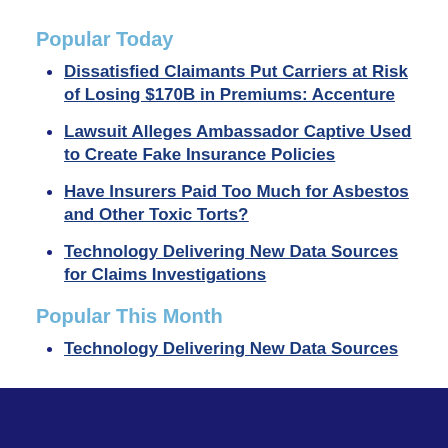Popular Today
Dissatisfied Claimants Put Carriers at Risk of Losing $170B in Premiums: Accenture
Lawsuit Alleges Ambassador Captive Used to Create Fake Insurance Policies
Have Insurers Paid Too Much for Asbestos and Other Toxic Torts?
Technology Delivering New Data Sources for Claims Investigations
Popular This Month
Technology Delivering New Data Sources